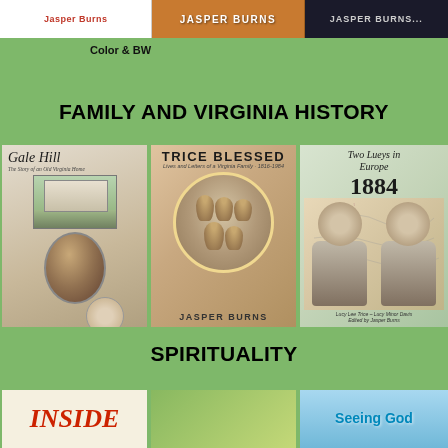[Figure (illustration): Three book covers showing 'Jasper Burns' title — first on white background, second on orange/brown, third on dark background]
Color & BW
FAMILY AND VIRGINIA HISTORY
[Figure (illustration): Book cover: Gale Hill – The Story of an Old Virginia Home by Jasper Burns, with portrait oval and house photograph]
[Figure (illustration): Book cover: Trice Blessed – Lives and Letters of a Virginia Family 1816-1984 by Jasper Burns, with oval family portrait on autumn leaves background]
[Figure (illustration): Book cover: Two Lueys in Europe 1884 by Lucy Lee Trice – Lucy Minor Davis, edited by Jasper Burns, with map background and two women portraits]
SPIRITUALITY
[Figure (illustration): Book cover: INSIDE — spirituality book by Jasper Burns, white background with red italic title]
[Figure (illustration): Book cover: spirituality book with S, E, B, Y letters and central figure on green background]
[Figure (illustration): Book cover: Seeing God — spirituality book with light blue background and stylized tree/figure]